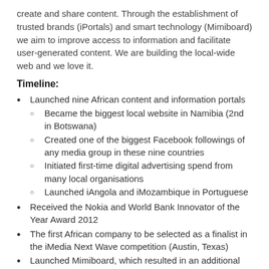create and share content. Through the establishment of trusted brands (iPortals) and smart technology (Mimiboard) we aim to improve access to information and facilitate user-generated content. We are building the local-wide web and we love it.
Timeline:
Launched nine African content and information portals
Became the biggest local website in Namibia (2nd in Botswana)
Created one of the biggest Facebook followings of any media group in these nine countries
Initiated first-time digital advertising spend from many local organisations
Launched iAngola and iMozambique in Portuguese
Received the Nokia and World Bank Innovator of the Year Award 2012
The first African company to be selected as a finalist in the iMedia Next Wave competition (Austin, Texas)
Launched Mimiboard, which resulted in an additional